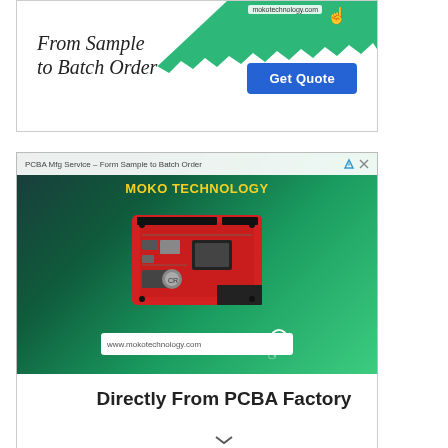[Figure (screenshot): Advertisement banner: 'From Sample to Batch Order' with a 'Get Quote' blue button on right, green torn-paper background on top right, mokotechnology.com URL]
[Figure (screenshot): Advertisement banner for MOKO TECHNOLOGY PCBA Mfg Service showing a red circuit board (PCB) on a green gradient background, with www.mokotechnology.com URL bar at bottom. Header text: 'PCBA Mfg Service – Form Sample to Batch Order']
Directly From PCBA Factory